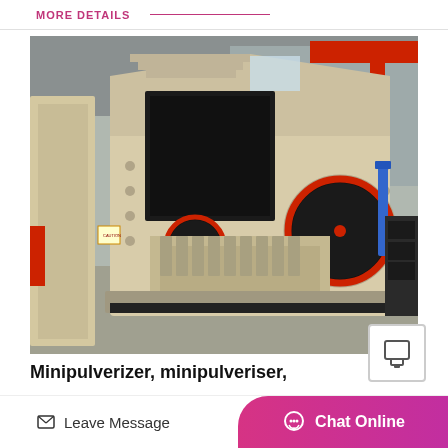MORE DETAILS
[Figure (photo): Industrial minipulverizer / impact crusher machine in a factory setting. The machine is large, cream/beige colored with red wheel rims, sitting on a factory floor. Red overhead crane visible in background.]
Minipulverizer, minipulveriser, micropulverizer, imp...
Leave Message  |  Chat Online